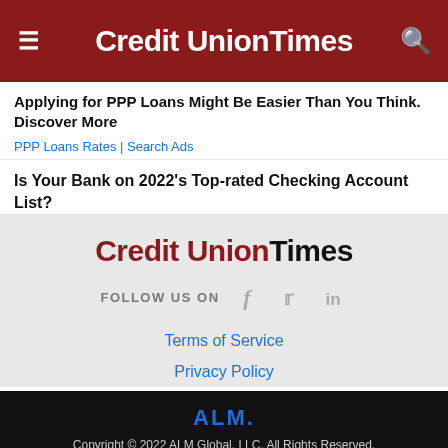Credit Union Times
Applying for PPP Loans Might Be Easier Than You Think. Discover More
PPP Loans Rates | Search Ads
Is Your Bank on 2022's Top-rated Checking Account List?
[Figure (logo): Credit Union Times logo in red and black text on light gray background]
FOLLOW US ON
Terms of Service
Privacy Policy
ALM. Copyright © 2022 ALM Global, LLC. All Rights Reserved.